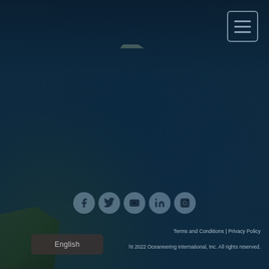[Figure (photo): Dark blue ocean water background with a vessel/boat silhouette visible at lower left and small boat on horizon. Dark navy tones throughout.]
[Figure (other): Hamburger menu button (three horizontal lines) in a rounded rectangle border, positioned top right]
[Figure (other): Social media icons row: Facebook, Twitter, YouTube, LinkedIn, Instagram — all circular grey buttons]
Terms and Conditions | Privacy Policy
ht 2022 Oceaneering International, Inc. All rights reserved.
English